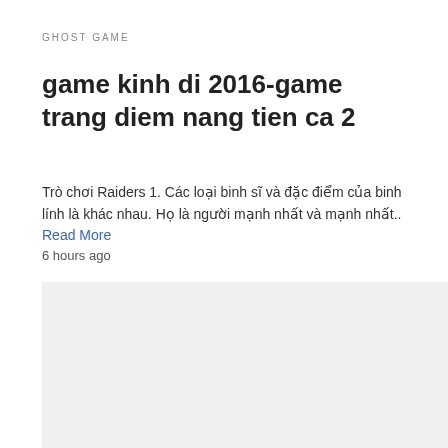GHOST GAME
game kinh di 2016-game trang diem nang tien ca 2
Trò chơi Raiders 1. Các loại binh sĩ và đặc điểm của binh lính là khác nhau. Họ là người mạnh nhất và mạnh nhất.. Read More
6 hours ago
[Figure (other): Light gray rectangular placeholder image area]